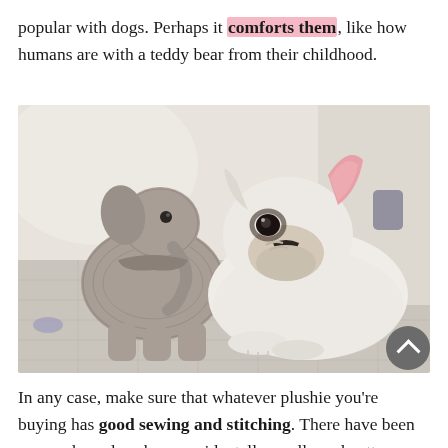popular with dogs. Perhaps it comforts them, like how humans are with a teddy bear from their childhood.
[Figure (photo): A white French Bulldog puppy lying on a tiled floor, interacting with a grey stuffed elephant plush toy. The puppy has pink ears and a black and white face. The background is a softly lit room.]
In any case, make sure that whatever plushie you're buying has good sewing and stitching. There have been cases where dogs have accidentally swallowed cotton stuffing, clogging their esophagus.